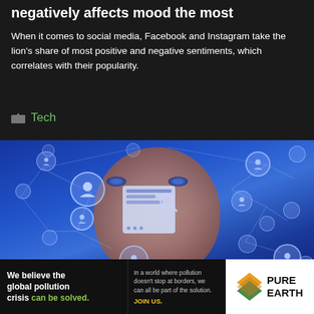negatively affects mood the most
When it comes to social media, Facebook and Instagram take the lion's share of most positive and negative sentiments, which correlates with their popularity.
Tech
[Figure (photo): Close-up photo of a man's face overlaid with a social network visualization showing profile icons connected by lines, and a content moderation/search interface overlay in the center.]
[Figure (infographic): Pure Earth advertisement banner: black background left side with text 'We believe the global pollution crisis can be solved.' and middle section with smaller text 'In a world where pollution doesn't stop at borders, we can all be part of the solution. JOIN US.' Right side white background with Pure Earth logo (orange/green diamond chevron) and PURE EARTH text.]